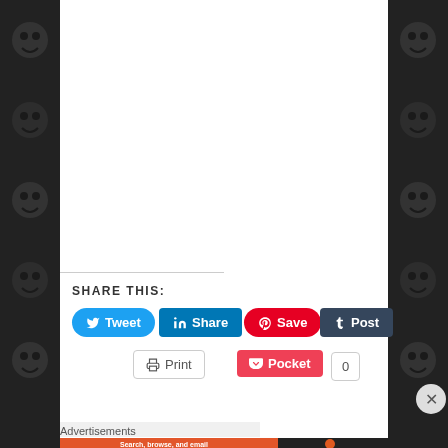SHARE THIS:
Tweet
Share
Save
Post
Print
Pocket 0
Advertisements
[Figure (infographic): DuckDuckGo advertisement banner: Search, browse, and email with more privacy. All in One Free App.]